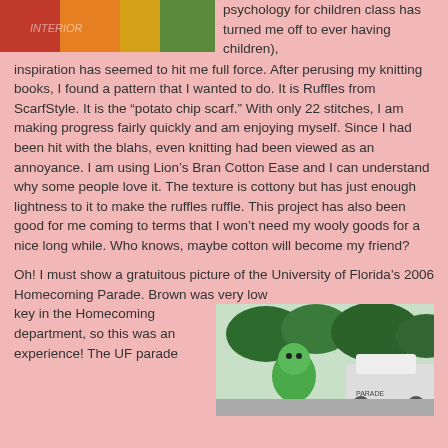[Figure (photo): Top portion of a colorful image, partially visible at top left of page]
psychology for children class has turned me off to ever having children), inspiration has seemed to hit me full force. After perusing my knitting books, I found a pattern that I wanted to do. It is Ruffles from ScarfStyle. It is the “potato chip scarf.” With only 22 stitches, I am making progress fairly quickly and am enjoying myself. Since I had been hit with the blahs, even knitting had been viewed as an annoyance. I am using Lion’s Bran Cotton Ease and I can understand why some people love it. The texture is cottony but has just enough lightness to it to make the ruffles ruffle. This project has also been good for me coming to terms that I won’t need my wooly goods for a nice long while. Who knows, maybe cotton will become my friend?
Oh! I must show a gratuitous picture of the University of Florida’s 2006 Homecoming Parade. Brown was very low key in the Homecoming department, so this was an experience! The UF parade
[Figure (photo): Outdoor parade scene with trees, a green mascot character, and a vehicle, from the University of Florida 2006 Homecoming Parade]